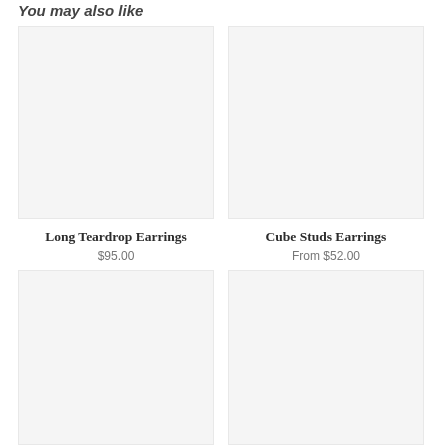You may also like
[Figure (photo): Product image placeholder for Long Teardrop Earrings - light gray background]
Long Teardrop Earrings
$95.00
[Figure (photo): Product image placeholder for Cube Studs Earrings - light gray background]
Cube Studs Earrings
From $52.00
[Figure (photo): Product image placeholder - light gray background, bottom left]
[Figure (photo): Product image placeholder - light gray background, bottom right]